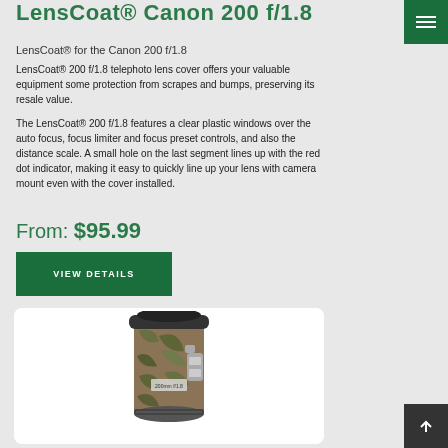LensCoat® Canon 200 f/1.8
LensCoat® for the Canon 200 f/1.8
LensCoat® 200 f/1.8 telephoto lens cover offers your valuable equipment some protection from scrapes and bumps, preserving its resale value.
The LensCoat® 200 f/1.8 features a clear plastic windows over the auto focus, focus limiter and focus preset controls, and also the distance scale. A small hole on the last segment lines up with the red dot indicator, making it easy to quickly line up your lens with camera mount even with the cover installed.
From: $95.99
VIEW DETAILS
[Figure (photo): Photo of a Canon 200 f/1.8 lens wrapped in camouflage LensCoat cover]